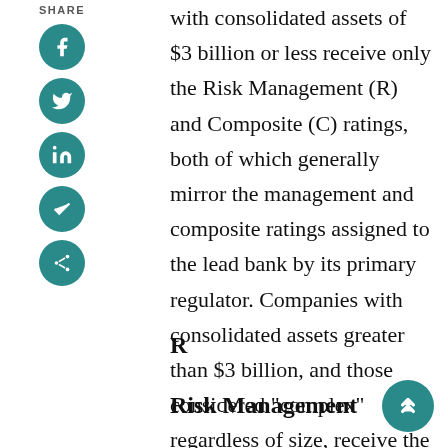SHARE
with consolidated assets of $3 billion or less receive only the Risk Management (R) and Composite (C) ratings, both of which generally mirror the management and composite ratings assigned to the lead bank by its primary regulator. Companies with consolidated assets greater than $3 billion, and those considered "complex" regardless of size, receive the full complement of ratings.
R
Risk Management